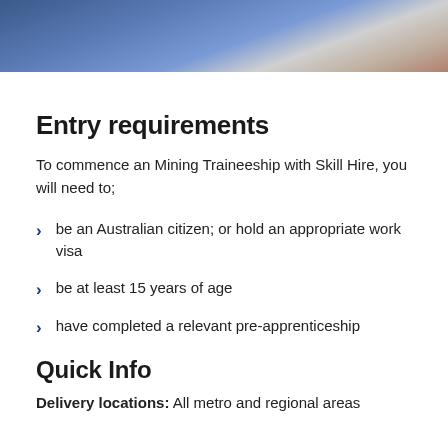[Figure (photo): Photo of workers/miners in blue work clothes and grey pants near red equipment]
Entry requirements
To commence an Mining Traineeship with Skill Hire, you will need to;
be an Australian citizen; or hold an appropriate work visa
be at least 15 years of age
have completed a relevant pre-apprenticeship
Quick Info
Delivery locations: All metro and regional areas